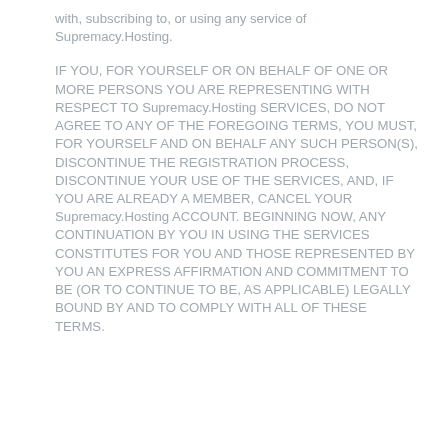with, subscribing to, or using any service of Supremacy.Hosting.
IF YOU, FOR YOURSELF OR ON BEHALF OF ONE OR MORE PERSONS YOU ARE REPRESENTING WITH RESPECT TO Supremacy.Hosting SERVICES, DO NOT AGREE TO ANY OF THE FOREGOING TERMS, YOU MUST, FOR YOURSELF AND ON BEHALF ANY SUCH PERSON(S), DISCONTINUE THE REGISTRATION PROCESS, DISCONTINUE YOUR USE OF THE SERVICES, AND, IF YOU ARE ALREADY A MEMBER, CANCEL YOUR Supremacy.Hosting ACCOUNT. BEGINNING NOW, ANY CONTINUATION BY YOU IN USING THE SERVICES CONSTITUTES FOR YOU AND THOSE REPRESENTED BY YOU AN EXPRESS AFFIRMATION AND COMMITMENT TO BE (OR TO CONTINUE TO BE, AS APPLICABLE) LEGALLY BOUND BY AND TO COMPLY WITH ALL OF THESE TERMS.